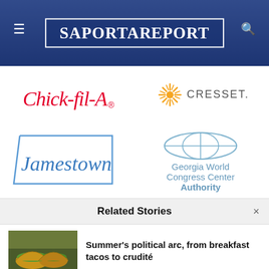SaportaReport
[Figure (logo): Chick-fil-A red cursive logo]
[Figure (logo): Cresset sunburst and wordmark logo]
[Figure (logo): Jamestown blue italic text in rectangular border]
[Figure (logo): Georgia World Congress Center Authority logo with globe icon]
Related Stories
Summer's political arc, from breakfast tacos to crudité